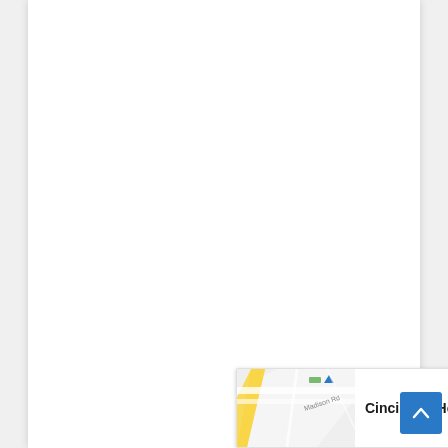[Figure (map): Google Maps style map thumbnail showing Madison Rd area, with road lines in white/yellow on light grey background. A green marker and blue triangle visible. Partial map card with title 'Cincinnati House B...' at bottom of page.]